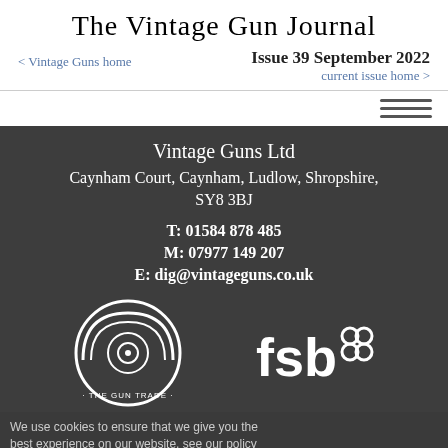The Vintage Gun Journal
Issue 39 September 2022
< Vintage Guns home    current issue home >
[Figure (other): Hamburger menu icon with three horizontal lines]
Vintage Guns Ltd
Caynham Court, Caynham, Ludlow, Shropshire, SY8 3BJ
T: 01584 878 485
M: 07977 149 207
E: dig@vintageguns.co.uk
[Figure (logo): The Gun Trade Association logo - circular white logo with 'THE GUN TRADE' text and a target symbol]
[Figure (logo): FSB (Federation of Small Businesses) logo in white]
We use cookies to ensure that we give you the best experience on our website, see our policy here
Read More    Accept Cookies